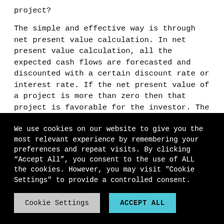project?
The simple and effective way is through net present value calculation. In net present value calculation, all the expected cash flows are forecasted and discounted with a certain discount rate or interest rate. If the net present value of a project is more than zero then that project is favorable for the investor. The formula for net present value is given below.
We use cookies on our website to give you the most relevant experience by remembering your preferences and repeat visits. By clicking “Accept All”, you consent to the use of ALL the cookies. However, you may visit "Cookie Settings" to provide a controlled consent.